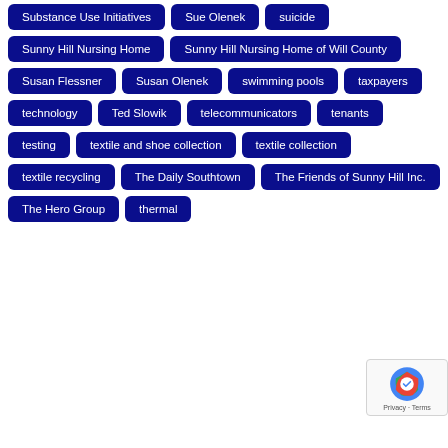Substance Use Initiatives
Sue Olenek
suicide
Sunny Hill Nursing Home
Sunny Hill Nursing Home of Will County
Susan Flessner
Susan Olenek
swimming pools
taxpayers
technology
Ted Slowik
telecommunicators
tenants
testing
textile and shoe collection
textile collection
textile recycling
The Daily Southtown
The Friends of Sunny Hill Inc.
The Hero Group
thermal